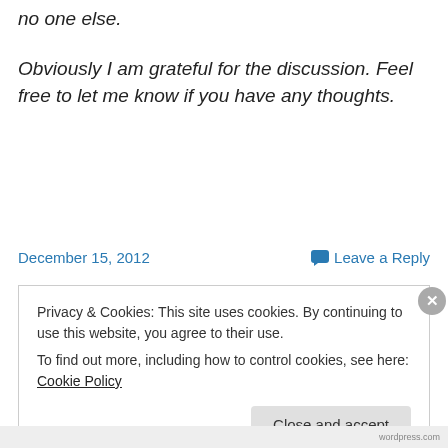no one else.
Obviously I am grateful for the discussion. Feel free to let me know if you have any thoughts.
December 15, 2012
Leave a Reply
Privacy & Cookies: This site uses cookies. By continuing to use this website, you agree to their use.
To find out more, including how to control cookies, see here: Cookie Policy